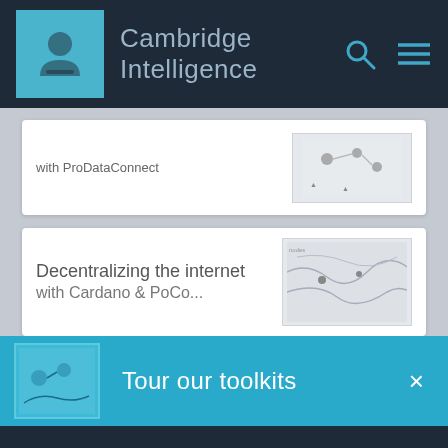Cambridge Intelligence
with ProDataConnect
Decentralizing the internet with Cardano & PoCo...
Tour our toolkits
We have placed cookies on your device to help make this website better.
Accept
Cookie Preferences